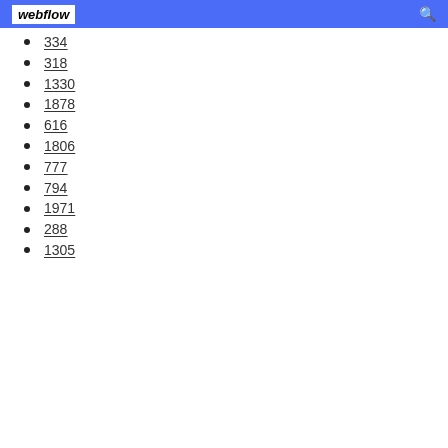webflow
334
318
1330
1878
616
1806
777
794
1971
288
1305